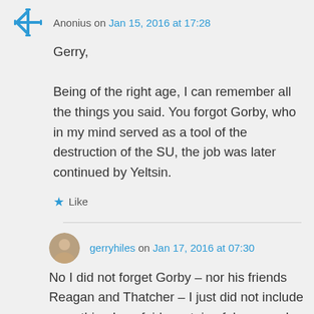Anonius on Jan 15, 2016 at 17:28
Gerry,

Being of the right age, I can remember all the things you said. You forgot Gorby, who in my mind served as a tool of the destruction of the SU, the job was later continued by Yeltsin.
Like
gerryhiles on Jan 17, 2016 at 07:30
No I did not forget Gorby – nor his friends Reagan and Thatcher – I just did not include everything I am fairly certain of, because I was only